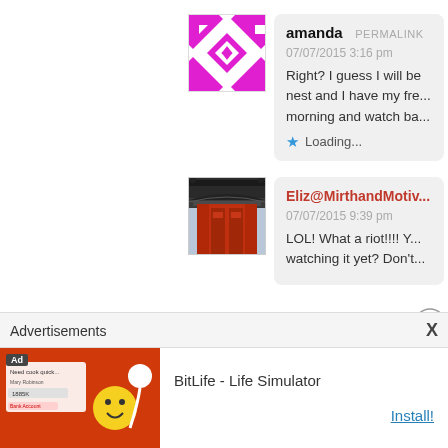[Figure (illustration): Purple and white decorative geometric avatar icon]
amanda PERMALINK
07/07/2015 3:16 pm
Right? I guess I will be... nest and I have my fre... morning and watch ba...
Loading...
[Figure (photo): Photo of a red Japanese gate/temple entrance]
Eliz@MirthandMotiv... 07/07/2015 9:39 pm
LOL! What a riot!!!! Y... watching it yet? Don't...
Advertisements
X
[Figure (screenshot): BitLife Life Simulator ad banner with red background, cartoon character, and sperm icon]
BitLife - Life Simulator
Install!